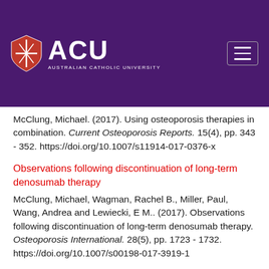[Figure (logo): Australian Catholic University (ACU) logo with shield and navigation hamburger menu on purple header background]
McClung, Michael. (2017). Using osteoporosis therapies in combination. Current Osteoporosis Reports. 15(4), pp. 343 - 352. https://doi.org/10.1007/s11914-017-0376-x
Observations following discontinuation of long-term denosumab therapy
McClung, Michael, Wagman, Rachel B., Miller, Paul, Wang, Andrea and Lewiecki, E M.. (2017). Observations following discontinuation of long-term denosumab therapy. Osteoporosis International. 28(5), pp. 1723 - 1732. https://doi.org/10.1007/s00198-017-3919-1
Bone mineral density and parathyroid